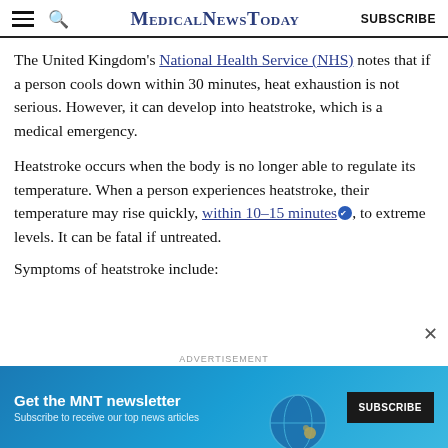MedicalNewsToday | SUBSCRIBE
The United Kingdom's National Health Service (NHS) notes that if a person cools down within 30 minutes, heat exhaustion is not serious. However, it can develop into heatstroke, which is a medical emergency.
Heatstroke occurs when the body is no longer able to regulate its temperature. When a person experiences heatstroke, their temperature may rise quickly, within 10–15 minutes, to extreme levels. It can be fatal if untreated.
Symptoms of heatstroke include:
[Figure (screenshot): Advertisement banner for MNT newsletter with text 'Get the MNT newsletter – Subscribe to receive our top news articles' and a SUBSCRIBE button on dark background, with decorative globe graphic.]